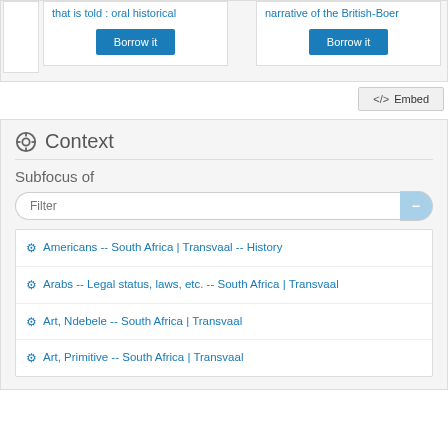that is told : oral historical
narrative of the British-Boer
Borrow it
Borrow it
</> Embed
Context
Subfocus of
Filter
Americans -- South Africa | Transvaal -- History
Arabs -- Legal status, laws, etc. -- South Africa | Transvaal
Art, Ndebele -- South Africa | Transvaal
Art, Primitive -- South Africa | Transvaal